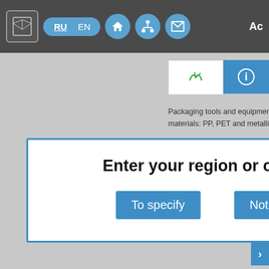RU EN [home icon] [network icon] [mail icon] Ac
Packaging tools and equipment Signo materials: PP, PET and metallic straps
//ww
Enter your region or country
To specify
Not now
Food equipment
Russia , Moscow  https://ww
GEO-ENGINEER